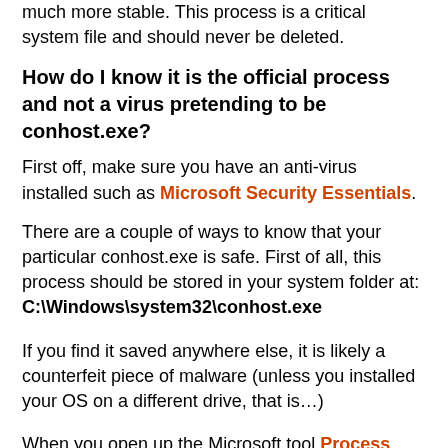much more stable. This process is a critical system file and should never be deleted.
How do I know it is the official process and not a virus pretending to be conhost.exe?
First off, make sure you have an anti-virus installed such as Microsoft Security Essentials.
There are a couple of ways to know that your particular conhost.exe is safe. First of all, this process should be stored in your system folder at: C:\Windows\system32\conhost.exe
If you find it saved anywhere else, it is likely a counterfeit piece of malware (unless you installed your OS on a different drive, that is...)
When you open up the Microsoft tool Process Explorer (made by SysInternals), it will show you a little bit more